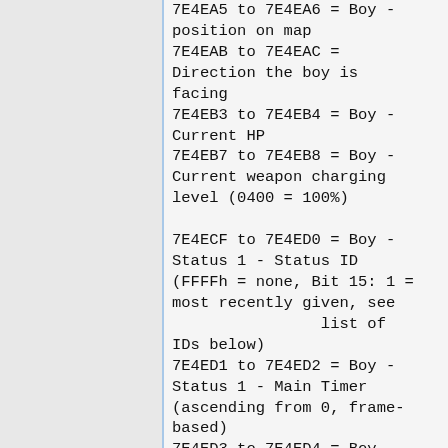7E4EA5 to 7E4EA6 = Boy - position on map
7E4EAB to 7E4EAC = Direction the boy is facing
7E4EB3 to 7E4EB4 = Boy - Current HP
7E4EB7 to 7E4EB8 = Boy - Current weapon charging level (0400 = 100%)

7E4ECF to 7E4ED0 = Boy - Status 1 - Status ID (FFFFh = none, Bit 15: 1 = most recently given, see                list of IDs below)
7E4ED1 to 7E4ED2 = Boy - Status 1 - Main Timer (ascending from 0, frame-based)
7E4ED3 to 7E4ED4 = Boy - Status 1 - Boost provided to statistic(s), OR Time since/until last/next